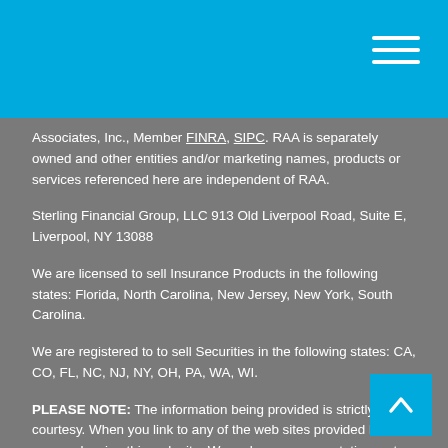Associates, Inc., Member FINRA, SIPC. RAA is separately owned and other entities and/or marketing names, products or services referenced here are independent of RAA.
Sterling Financial Group, LLC 913 Old Liverpool Road, Suite E, Liverpool, NY 13088
We are licensed to sell Insurance Products in the following states: Florida, North Carolina, New Jersey, New York, South Carolina.
We are registered to to sell Securities in the following states: CA, CO, FL, NC, NJ, NY, OH, PA, WA, WI.
PLEASE NOTE: The information being provided is strictly as a courtesy. When you link to any of the web sites provided here, you are leaving this web site. We make no representation as to the completeness or accuracy of information provided at these web sites. Nor is the company liable for any direct or indirect technical or system issues or any consequences arising out of your access to or your use of third-party technologies, web sites, information and programs made available through this web site. When you access one of these web sites, you are leaving our web site and assume total responsibility and risk for your use of the web sites you are linking to.
www.royalalliance.com/disclosures.